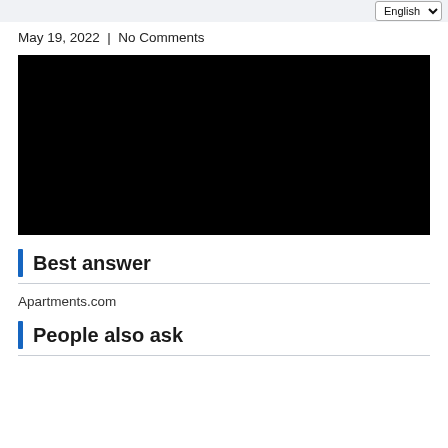English
May 19, 2022  |  No Comments
[Figure (other): Black video embed placeholder]
Best answer
Apartments.com
People also ask